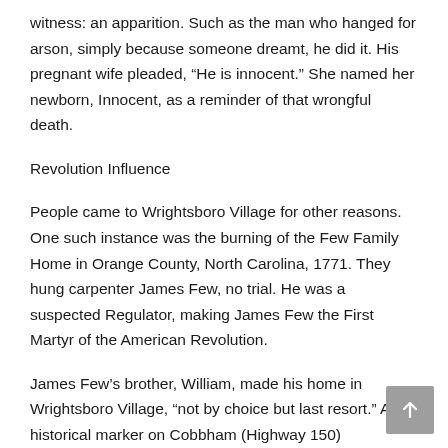witness: an apparition. Such as the man who hanged for arson, simply because someone dreamt, he did it. His pregnant wife pleaded, “He is innocent.” She named her newborn, Innocent, as a reminder of that wrongful death.
Revolution Influence
People came to Wrightsboro Village for other reasons. One such instance was the burning of the Few Family Home in Orange County, North Carolina, 1771. They hung carpenter James Few, no trial. He was a suspected Regulator, making James Few the First Martyr of the American Revolution.
James Few’s brother, William, made his home in Wrightsboro Village, “not by choice but last resort.” A historical marker on Cobbham (Highway 150) commemorates the location of the William Few Home